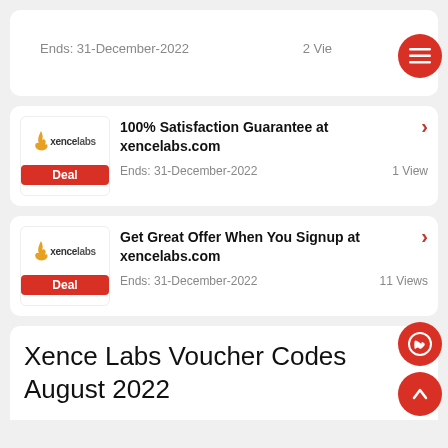Ends: 31-December-2022   2 Views
[Figure (logo): Xencelabs logo with flame icon and 'xencelabs' text]
100% Satisfaction Guarantee at xencelabs.com
Ends: 31-December-2022   1 View
[Figure (logo): Xencelabs logo with flame icon and 'xencelabs' text]
Get Great Offer When You Signup at xencelabs.com
Ends: 31-December-2022   11 Views
Xence Labs Voucher Codes August 2022